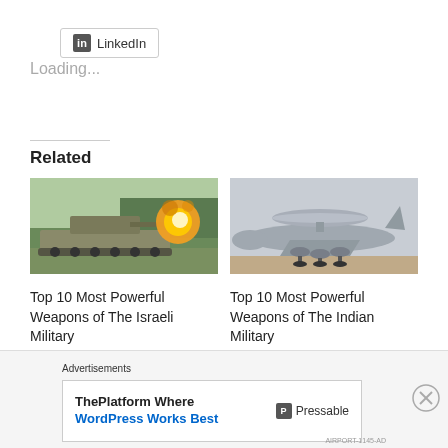[Figure (logo): LinkedIn share button with LinkedIn logo icon]
Loading...
Related
[Figure (photo): A military tank (Merkava) firing a round with a large fireball, on a green field]
[Figure (photo): A large military surveillance/AWACS aircraft on a runway]
Top 10 Most Powerful Weapons of The Israeli Military
Top 10 Most Powerful Weapons of The Indian Military
Advertisements
[Figure (screenshot): Advertisement for Pressable: ThePlatform Where WordPress Works Best]